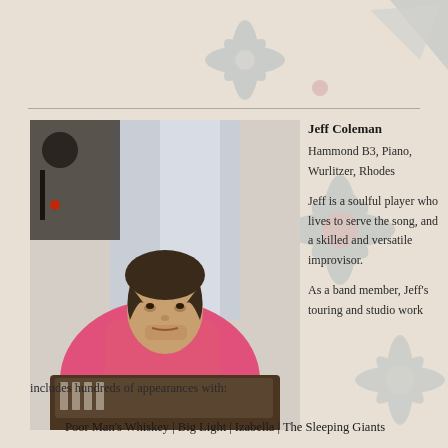[Figure (photo): Man in pink shirt seated at a piano/keyboard, photographed outdoors with equipment in background]
Jeff Coleman
Hammond B3, Piano, Wurlitzer, Rhodes
Jeff is a soulful player who lives to serve the song, and a skilled and versatile improvisor.
As a band member, Jeff's touring and studio work includes hundreds of appearances with:
Poor Man's Whiskey | Big Light | Izabella | The Sleeping Giants